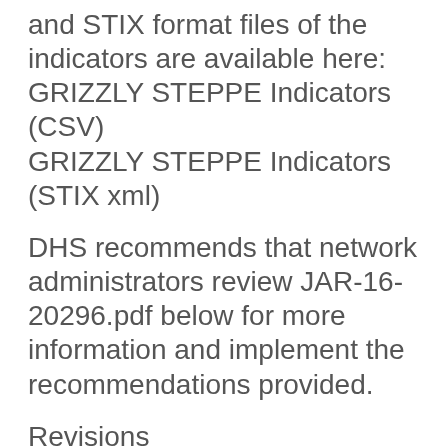and STIX format files of the indicators are available here: GRIZZLY STEPPE Indicators (CSV) GRIZZLY STEPPE Indicators (STIX xml)
DHS recommends that network administrators review JAR-16-20296.pdf below for more information and implement the recommendations provided.
Revisions
December 29, 2016: Initial release